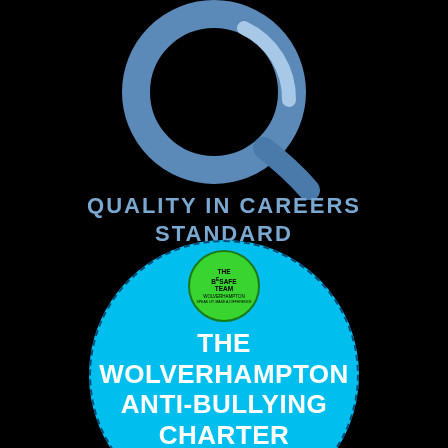[Figure (logo): Quality in Careers Standard logo: large blue Q letter mark on black background]
QUALITY IN CAREERS STANDARD
[Figure (logo): The Wolverhampton Anti-Bullying Charter Mark: a bright blue circle with dashed border, green B-Safe Team badge at top, white bold text reading THE WOLVERHAMPTON ANTI-BULLYING CHARTER MARK]